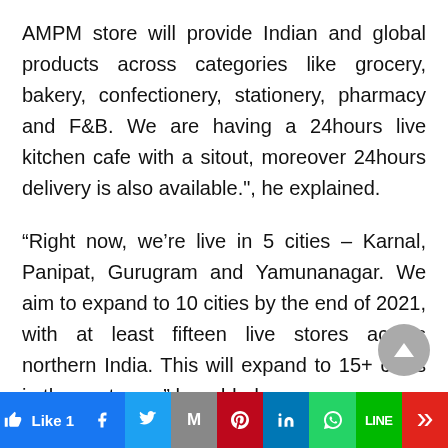AMPM store will provide Indian and global products across categories like grocery, bakery, confectionery, stationery, pharmacy and F&B. We are having a 24hours live kitchen cafe with a sitout, moreover 24hours delivery is also available.", he explained.
“Right now, we’re live in 5 cities – Karnal, Panipat, Gurugram and Yamunanagar. We aim to expand to 10 cities by the end of 2021, with at least fifteen live stores across northern India. This will expand to 15+ cities in the next year,” he added.